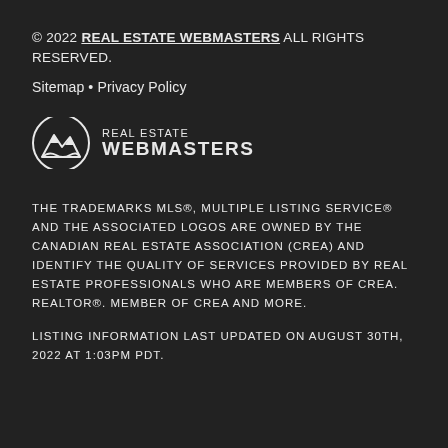© 2022 REAL ESTATE WEBMASTERS ALL RIGHTS RESERVED.
Sitemap • Privacy Policy
[Figure (logo): Real Estate Webmasters logo — mountain/wave icon on left, text 'REAL ESTATE WEBMASTERS' on right]
THE TRADEMARKS MLS®, MULTIPLE LISTING SERVICE® AND THE ASSOCIATED LOGOS ARE OWNED BY THE CANADIAN REAL ESTATE ASSOCIATION (CREA) AND IDENTIFY THE QUALITY OF SERVICES PROVIDED BY REAL ESTATE PROFESSIONALS WHO ARE MEMBERS OF CREA. REALTOR®. MEMBER OF CREA AND MORE.
LISTING INFORMATION LAST UPDATED ON AUGUST 30TH, 2022 AT 1:03PM PDT.